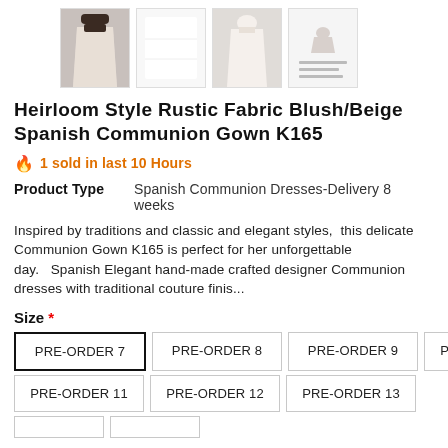[Figure (photo): Four product thumbnail images of a white/beige communion gown from different angles]
Heirloom Style Rustic Fabric Blush/Beige Spanish Communion Gown K165
🔥  1 sold in last 10 Hours
Product Type    Spanish Communion Dresses-Delivery 8 weeks
Inspired by traditions and classic and elegant styles, this delicate Communion Gown K165 is perfect for her unforgettable day.  Spanish Elegant hand-made crafted designer Communion dresses with traditional couture finis...
Size *
PRE-ORDER 7  PRE-ORDER 8  PRE-ORDER 9  PRE-ORDER 10  PRE-ORDER 11  PRE-ORDER 12  PRE-ORDER 13